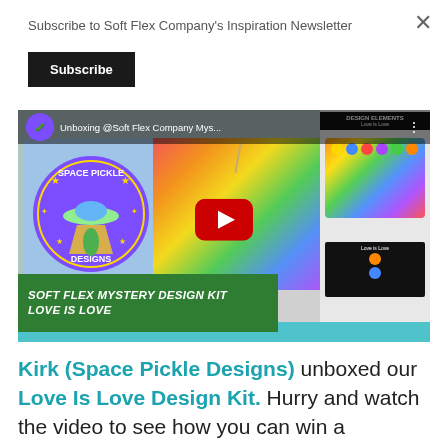Subscribe to Soft Flex Company's Inspiration Newsletter
Subscribe
[Figure (screenshot): YouTube video thumbnail for 'Unboxing @Soft Flex Company Mys...' featuring Space Pickle Designs logo, rainbow bag, beads, and green banner reading 'Soft Flex Mystery Design Kit Love is Love']
Kirk (Space Pickle Designs) unboxed our Love Is Love Design Kit. Hurry and watch the video to see how you can win a giveaway that ends on